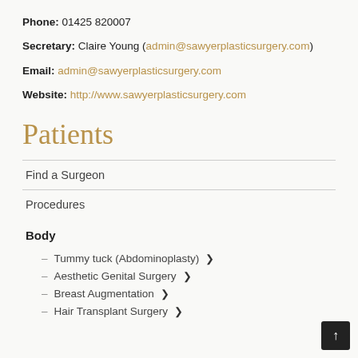Phone: 01425 820007
Secretary: Claire Young (admin@sawyerplasticsurgery.com)
Email: admin@sawyerplasticsurgery.com
Website: http://www.sawyerplasticsurgery.com
Patients
Find a Surgeon
Procedures
Body
Tummy tuck (Abdominoplasty) ❯
Aesthetic Genital Surgery ❯
Breast Augmentation ❯
Hair Transplant Surgery ❯